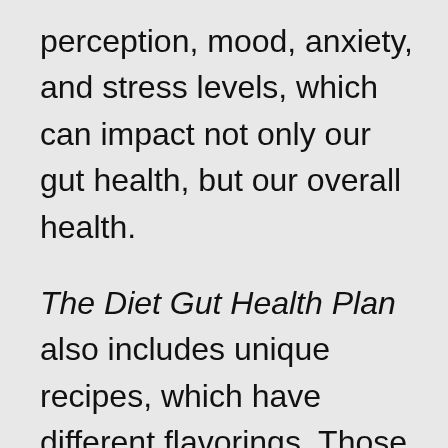perception, mood, anxiety, and stress levels, which can impact not only our gut health, but our overall health.
The Diet Gut Health Plan also includes unique recipes, which have different flavorings. Those who have bacterial overgrowth may